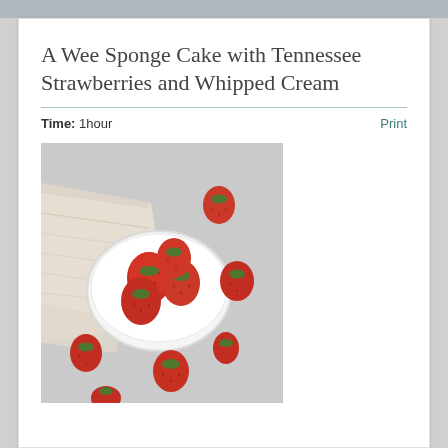A Wee Sponge Cake with Tennessee Strawberries and Whipped Cream
Time: 1hour
Print
[Figure (photo): Overhead photo of fresh red strawberries in a white bowl on a light gray surface with a linen cloth, some strawberries scattered around the bowl]